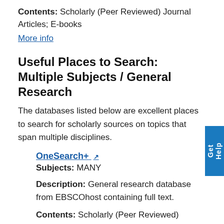Contents: Scholarly (Peer Reviewed) Journal Articles; E-books
More info
Useful Places to Search: Multiple Subjects / General Research
The databases listed below are excellent places to search for scholarly sources on topics that span multiple disciplines.
OneSearch+
Subjects: MANY
Description: General research database from EBSCOhost containing full text.
Contents: Scholarly (Peer Reviewed) Journal Articles; Popular (Non-Scholarly) Articles - Newspapers; Popular